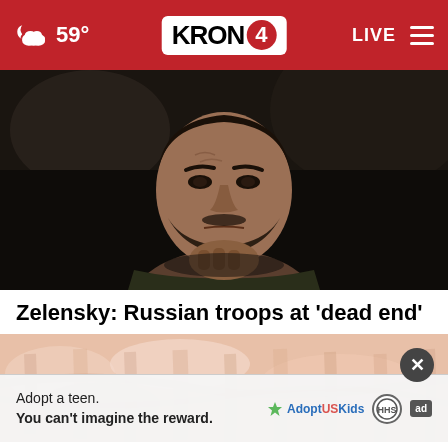KRON 4 — 59° — LIVE
[Figure (photo): Close-up photo of a man (Zelensky) with dark beard, resting his fist under his chin, looking downward in a contemplative pose against a dark blurred background]
Zelensky: Russian troops at 'dead end'
[Figure (photo): Close-up photo of raw/pink meat or protein dish, with an advertisement overlay at bottom reading 'Adopt a teen. You can't imagine the reward.' with AdoptUSKids logo and ad badge]
Adopt a teen. You can't imagine the reward.